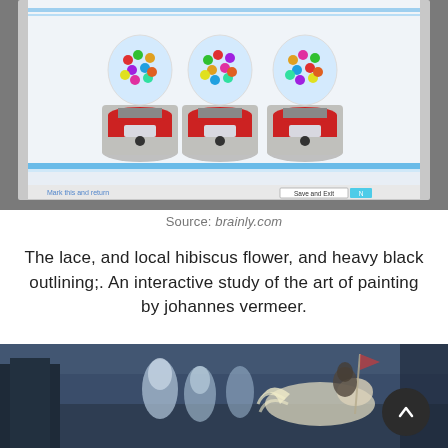[Figure (screenshot): Screenshot of a Brainly quiz page showing three gumball machines side by side, with 'Mark this and return' and 'Save and Exit' buttons at the bottom]
Source: brainly.com
The lace, and local hibiscus flower, and heavy black outlining;. An interactive study of the art of painting by johannes vermeer.
[Figure (illustration): Dark atmospheric painting or illustration showing ghostly figures and a horse in a blue-toned night scene, with a circular scroll-to-top button overlay]